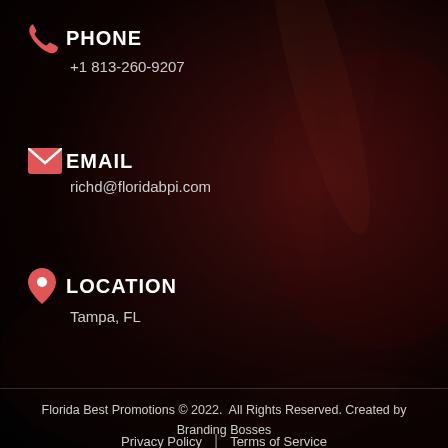PHONE
+1 813-260-9207
EMAIL
richd@floridabpi.com
LOCATION
Tampa, FL
Florida Best Promotions © 2022.  All Rights Reserved. Created by Branding Bosses
Privacy Policy | Terms of Service